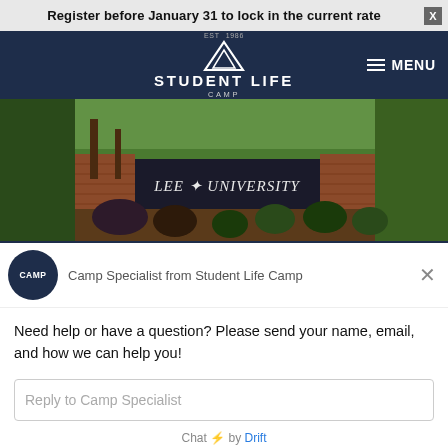Register before January 31 to lock in the current rate
[Figure (logo): Student Life Camp logo with triangle/mountain icon, EST 1986, white text on dark navy background, with MENU hamburger button]
[Figure (photo): Lee University entrance sign with brick columns, green landscaping, shrubs and trees]
Camp Specialist from Student Life Camp
Need help or have a question? Please send your name, email, and how we can help you!
Reply to Camp Specialist
Chat ⚡ by Drift